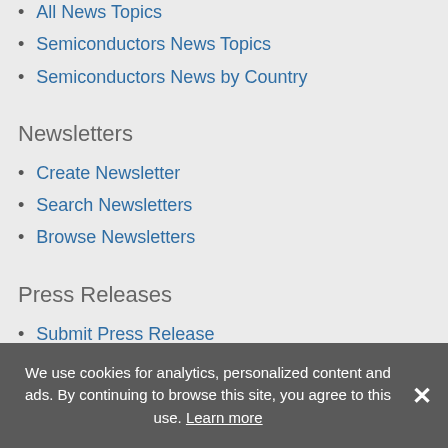All News Topics
Semiconductors News Topics
Semiconductors News by Country
Newsletters
Create Newsletter
Search Newsletters
Browse Newsletters
Press Releases
Submit Press Release
Browse Featured Press Releases
Browse All Press Releases
We use cookies for analytics, personalized content and ads. By continuing to browse this site, you agree to this use. Learn more